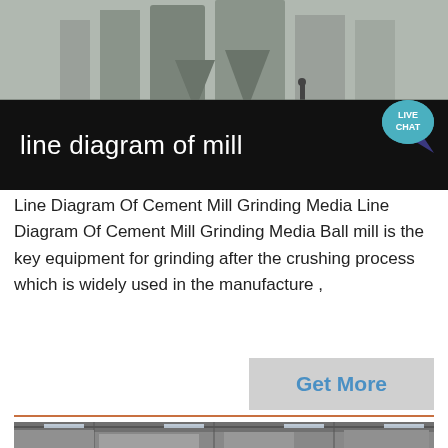[Figure (photo): Industrial cement mill or grinding facility exterior photo showing large silos and construction equipment]
line diagram of mill
Line Diagram Of Cement Mill Grinding Media Line Diagram Of Cement Mill Grinding Media Ball mill is the key equipment for grinding after the crushing process which is widely used in the manufacture ,
[Figure (other): Get More button - light grey rectangular button with blue text]
[Figure (photo): Industrial mill interior showing dust collection equipment and structural steel framing]